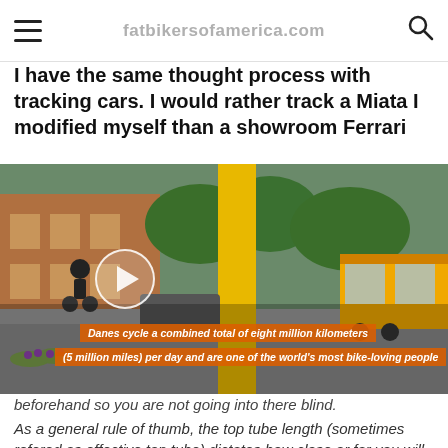≡  [site title faded]  🔍
I have the same thought process with tracking cars. I would rather track a Miata I modified myself than a showroom Ferrari
[Figure (photo): Street scene showing a cyclist on the left, a large yellow post/structure in the center, and a yellow bus in the background. A play button overlay is visible indicating this is a video thumbnail. Two orange subtitle bars read: 'Danes cycle a combined total of eight million kilometers' and '(5 million miles) per day and are one of the world's most bike-loving people']
beforehand so you are not going into there blind.
As a general rule of thumb, the top tube length (sometimes refered as effective top tube) dictates how close or far you will be sitting to the bars. The reach